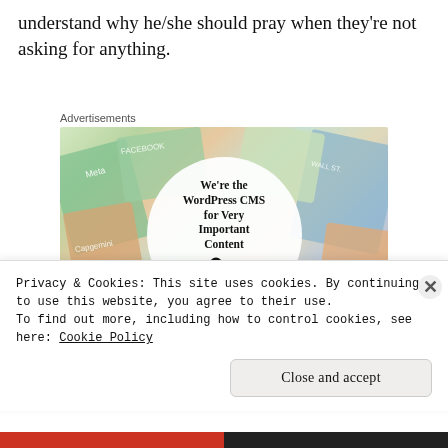understand why he/she should pray when they're not asking for anything.
Advertisements
[Figure (illustration): WordPress VIP advertisement showing book and magazine covers with tech brand logos (Meta, Facebook, Capgemini, Salesforce) in background, with a white circle in center reading 'We're the WordPress CMS for Very Important Content' with WP VIP logo and 'Learn more' button]
Privacy & Cookies: This site uses cookies. By continuing to use this website, you agree to their use.
To find out more, including how to control cookies, see here: Cookie Policy
Close and accept